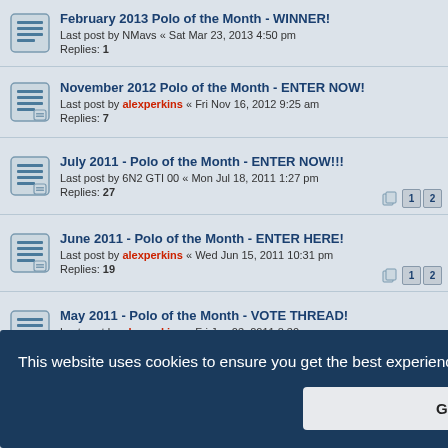February 2013 Polo of the Month - WINNER! Last post by NMavs « Sat Mar 23, 2013 4:50 pm Replies: 1
November 2012 Polo of the Month - ENTER NOW! Last post by alexperkins « Fri Nov 16, 2012 9:25 am Replies: 7
July 2011 - Polo of the Month - ENTER NOW!!! Last post by 6N2 GTI 00 « Mon Jul 18, 2011 1:27 pm Replies: 27
June 2011 - Polo of the Month - ENTER HERE! Last post by alexperkins « Wed Jun 15, 2011 10:31 pm Replies: 19
May 2011 - Polo of the Month - VOTE THREAD! Last post by alexperkins « Fri Jun 03, 2011 8:30 pm Replies: 28
May 2011 - Polo of the Month ENTER HERE!
This website uses cookies to ensure you get the best experience on our website. Learn more
Got it!
APRIL 2011 - Polo of the Month - ENTER HERE!